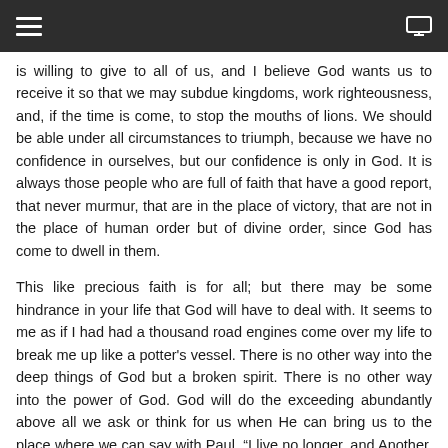is willing to give to all of us, and I believe God wants us to receive it so that we may subdue kingdoms, work righteousness, and, if the time is come, to stop the mouths of lions. We should be able under all circumstances to triumph, because we have no confidence in ourselves, but our confidence is only in God. It is always those people who are full of faith that have a good report, that never murmur, that are in the place of victory, that are not in the place of human order but of divine order, since God has come to dwell in them.
This like precious faith is for all; but there may be some hindrance in your life that God will have to deal with. It seems to me as if I had had a thousand road engines come over my life to break me up like a potter's vessel. There is no other way into the deep things of God but a broken spirit. There is no other way into the power of God. God will do the exceeding abundantly above all we ask or think for us when He can bring us to the place where we can say with Paul, “I live no longer, and Another, even Christ, has taken the reins and the rule.”
I understand God by His Word. I do not understand God by impressions or feelings; I am not able to know God by sentiments. If